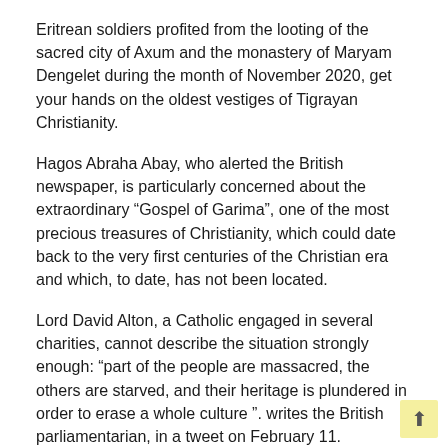Eritrean soldiers profited from the looting of the sacred city of Axum and the monastery of Maryam Dengelet during the month of November 2020, get your hands on the oldest vestiges of Tigrayan Christianity.
Hagos Abraha Abay, who alerted the British newspaper, is particularly concerned about the extraordinary “Gospel of Garima”, one of the most precious treasures of Christianity, which could date back to the very first centuries of the Christian era and which, to date, has not been located.
Lord David Alton, a Catholic engaged in several charities, cannot describe the situation strongly enough: “part of the people are massacred, the others are starved, and their heritage is plundered in order to erase a whole culture ”. writes the British parliamentarian, in a tweet on February 11.
The evangelization of Ethiopia dates back to the early centuries of Christianity – perhaps from the conversion of Queen Candace’s eunuch mentioned by Saint Luke in the Acts of the